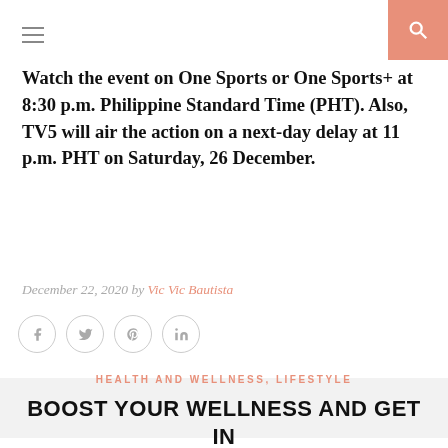[hamburger menu icon] [search icon]
Watch the event on One Sports or One Sports+ at 8:30 p.m. Philippine Standard Time (PHT). Also, TV5 will air the action on a next-day delay at 11 p.m. PHT on Saturday, 26 December.
December 22, 2020 by Vic Vic Bautista
[Figure (infographic): Social share icons: Facebook, Twitter, Pinterest, LinkedIn — circular outlined buttons]
HEALTH AND WELLNESS, LIFESTYLE
BOOST YOUR WELLNESS AND GET IN SHAPE JUST FOLLOW ON TIKTOK TOP FITNESS CREATORS